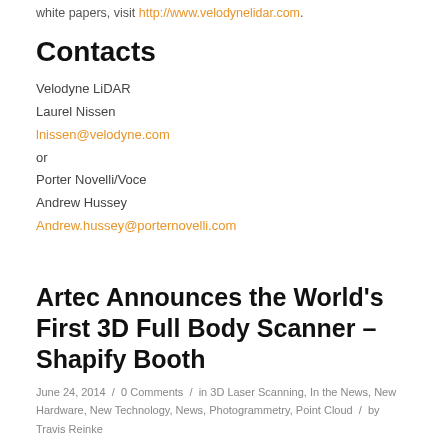white papers, visit http://www.velodynelidar.com.
Contacts
Velodyne LiDAR
Laurel Nissen
lnissen@velodyne.com
or
Porter Novelli/Voce
Andrew Hussey
Andrew.hussey@porternovelli.com
Artec Announces the World's First 3D Full Body Scanner – Shapify Booth
June 24, 2014  /  0 Comments  /  in 3D Laser Scanning, In the News, New Hardware, New Technology, News, Photogrammetry, Point Cloud  /  by Travis Reinke